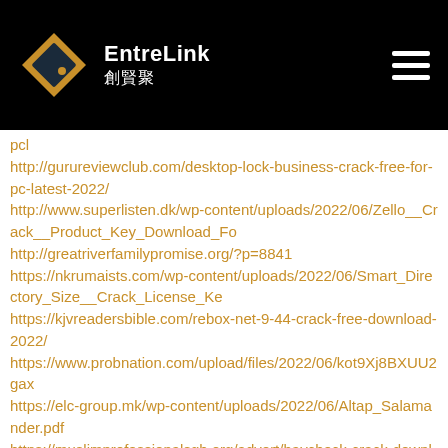EntreLink 創賢聚
pcl
http://gurureviewclub.com/desktop-lock-business-crack-free-for-pc-latest-2022/
http://www.superlisten.dk/wp-content/uploads/2022/06/Zello__Crack__Product_Key_Download_Fo
http://greatriverfamilypromise.org/?p=8841
https://nkrumaists.com/wp-content/uploads/2022/06/Smart_Directory_Size__Crack_License_Ke
https://kjvreadersbible.com/rebox-net-9-44-crack-free-download-2022/
https://www.probnation.com/upload/files/2022/06/kot9Xj8BXUU2gax
https://elc-group.mk/wp-content/uploads/2022/06/Altap_Salamander.pdf
https://muslimprofessionalsgh.org/advert/baycheck-crack-download-latest-2022-3/
https://facethai.net/upload/files/2022/06/Mw4RkPl8KygSBia4Pgcp_2